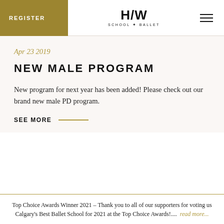REGISTER | H/W SCHOOL OF BALLET
Apr 23 2019
NEW MALE PROGRAM
New program for next year has been added! Please check out our brand new male PD program.
SEE MORE
Top Choice Awards Winner 2021 – Thank you to all of our supporters for voting us Calgary's Best Ballet School for 2021 at the Top Choice Awards!.... read more...